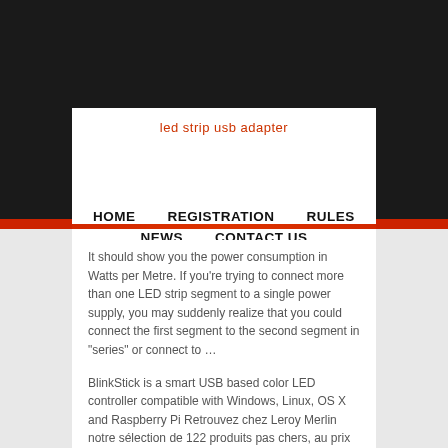led strip usb adapter
HOME   REGISTRATION   RULES   NEWS   CONTACT US
It should show you the power consumption in Watts per Metre. If you're trying to connect more than one LED strip segment to a single power supply, you may suddenly realize that you could connect the first segment to the second segment in "series" or connect to …
BlinkStick is a smart USB based color LED controller compatible with Windows, Linux, OS X and Raspberry Pi Retrouvez chez Leroy Merlin notre sélection de 122 produits pas chers, au prix le plus juste, sur un large choix de marques et de références, disponibles en magasin ou